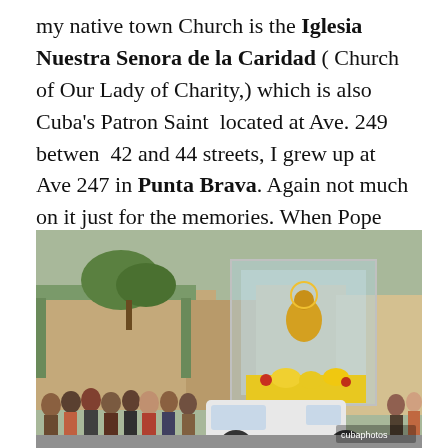my native town Church is the Iglesia Nuestra Senora de la Caridad ( Church of Our Lady of Charity,) which is also Cuba's Patron Saint  located at Ave. 249  betwen  42 and 44 streets, I grew up at Ave 247 in Punta Brava. Again not much on it just for the memories. When Pope John Paul II visited Cuba shortly after the Virgin of  Charity (Virgen de la Caridad del Cobre) or the Immaculate Conception of the Virgin Mary , patron Saint of Cuba was brought all over and passed by Punta Brava! My family sent me the photo.
[Figure (photo): A street procession in Cuba showing the Virgin of Charity (Virgen de la Caridad del Cobre) statue displayed in a glass case adorned with yellow flowers, carried on a vehicle through a crowd of people lining the street, with buildings and trees visible in the background.]